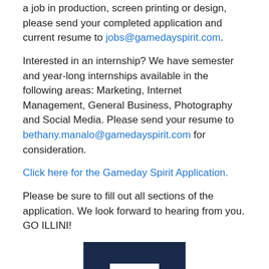a job in production, screen printing or design, please send your completed application and current resume to jobs@gamedayspirit.com.
Interested in an internship? We have semester and year-long internships available in the following areas: Marketing, Internet Management, General Business, Photography and Social Media. Please send your resume to bethany.manalo@gamedayspirit.com for consideration.
Click here for the Gameday Spirit Application.
Please be sure to fill out all sections of the application. We look forward to hearing from you. GO ILLINI!
[Figure (logo): Block I logo in dark navy blue — the University of Illinois Block I symbol, partially visible at the bottom of the page.]